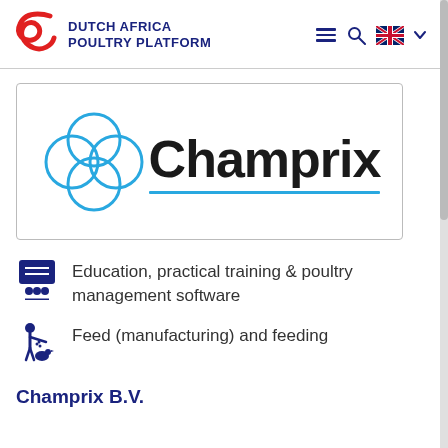DUTCH AFRICA POULTRY PLATFORM
[Figure (logo): Champrix logo: four interlocked circles in light blue forming a flower shape, with the word 'Champrix' in bold dark text and a light blue underline, inside a bordered rectangle]
Education, practical training & poultry management software
Feed (manufacturing) and feeding
Champrix B.V.